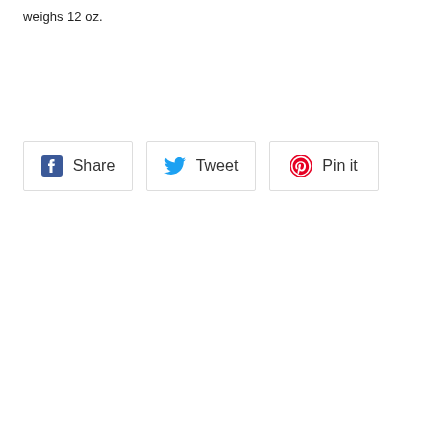weighs 12 oz.
[Figure (other): Three social sharing buttons: Facebook Share, Twitter Tweet, and Pinterest Pin it]